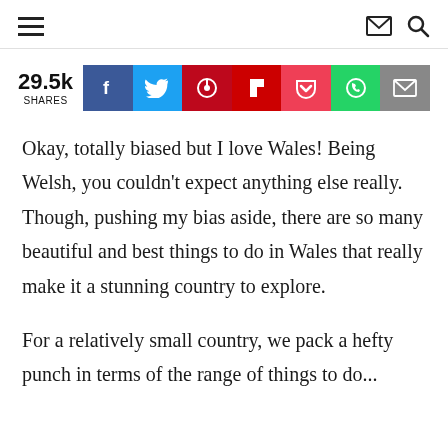navigation bar with hamburger menu, envelope and search icons
[Figure (infographic): Social share bar showing 29.5k shares and social media buttons: Facebook (blue), Twitter (cyan), Pinterest (red), Flipboard (red), Pocket (purple), WhatsApp (green), Email (gray)]
Okay, totally biased but I love Wales! Being Welsh, you couldn't expect anything else really. Though, pushing my bias aside, there are so many beautiful and best things to do in Wales that really make it a stunning country to explore.
For a relatively small country, we pack a hefty punch in terms of the range of things to do...